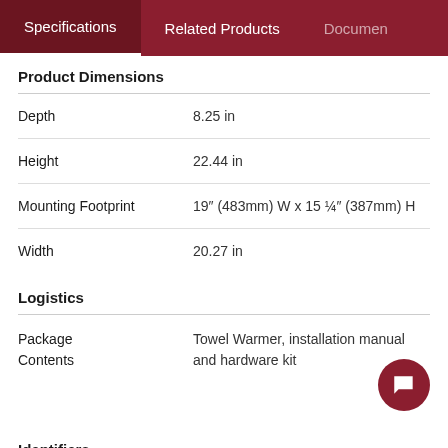Specifications | Related Products | Documents
Product Dimensions
| Property | Value |
| --- | --- |
| Depth | 8.25 in |
| Height | 22.44 in |
| Mounting Footprint | 19″ (483mm) W x 15 ¼″ (387mm) H |
| Width | 20.27 in |
Logistics
| Property | Value |
| --- | --- |
| Package Contents | Towel Warmer, installation manual and hardware kit |
Identifiers